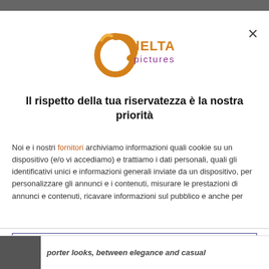[Figure (logo): Delta Pictures logo: orange/gold stylized delta symbol with 'dELTA pictures' text in orange and purple]
Il rispetto della tua riservatezza è la nostra priorità
Noi e i nostri fornitori archiviamo informazioni quali cookie su un dispositivo (e/o vi accediamo) e trattiamo i dati personali, quali gli identificativi unici e informazioni generali inviate da un dispositivo, per personalizzare gli annunci e i contenuti, misurare le prestazioni di annunci e contenuti, ricavare informazioni sul pubblico e anche per
ACCETTO
PIÙ OPZIONI
porter looks, between elegance and casual